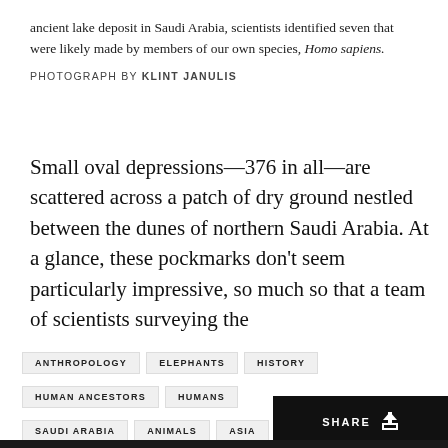ancient lake deposit in Saudi Arabia, scientists identified seven that were likely made by members of our own species, Homo sapiens.
PHOTOGRAPH BY KLINT JANULIS
Small oval depressions—376 in all—are scattered across a patch of dry ground nestled between the dunes of northern Saudi Arabia. At a glance, these pockmarks don't seem particularly impressive, so much so that a team of scientists surveying the
ANTHROPOLOGY
ELEPHANTS
HISTORY
HUMAN ANCESTORS
HUMANS
SAUDI ARABIA
ANIMALS
ASIA
EARTH
MAMMALS
MORE